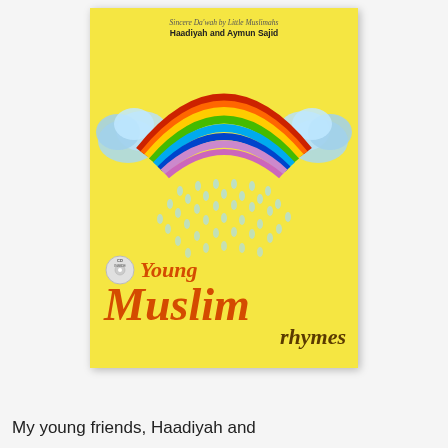[Figure (illustration): Book cover of 'Young Muslim Rhymes' on a yellow background. Features a rainbow with two blue fluffy clouds on each side, raindrops falling below the rainbow, a CD badge, and the title text 'Young Muslim rhymes' in orange/brown italic font. Above: 'Sincere Da'wah by Little Muslimah, Haadiyah and Aymun Sajid'.]
My young friends, Haadiyah and